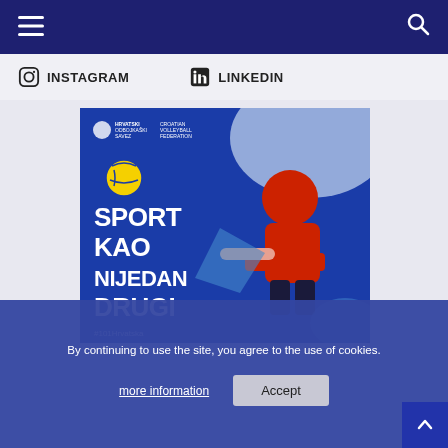Navigation bar with hamburger menu and search icon
INSTAGRAM   LINKEDIN
[Figure (photo): Croatian Volleyball Federation promotional image with volleyball player in red jersey diving, text reads SPORT KAO NIJEDAN DRUGI (Sport Like No Other) with #101Hrvatska hashtag]
By continuing to use the site, you agree to the use of cookies.
more information   Accept